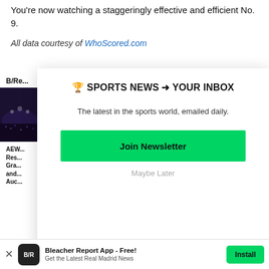You're now watching a staggeringly effective and efficient No. 9.
All data courtesy of WhoScored.com
B/Re...
[Figure (photo): Dark arena/sports venue crowd photo in sidebar]
AEW... Res... Gra... and... Auc...
🏆 SPORTS NEWS ➜ YOUR INBOX
The latest in the sports world, emailed daily.
Join Newsletter
Maybe Later
Bleacher Report App - Free! Get the Latest Real Madrid News